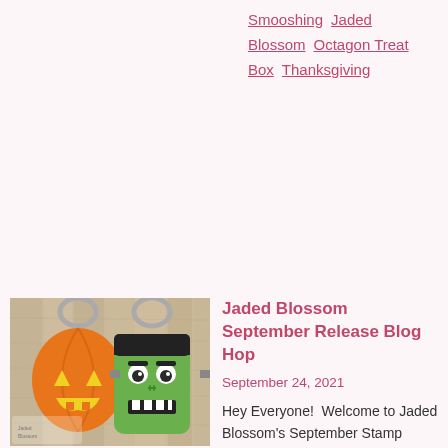Smooshing  Jaded Blossom  Octagon Treat Box  Thanksgiving
READ MORE
[Figure (photo): Two Halloween trick-or-treat bags on a wooden background: one shaped like a jack-o-lantern pumpkin (orange with yellow triangle eyes and mouth) and one shaped like Frankenstein (green with black hair and white teeth). Jaded Blossom logo watermark visible.]
Jaded Blossom September Release Blog Hop
September 24, 2021
Hey Everyone!  Welcome to Jaded Blossom's September Stamp Release Blog Hop. Now if you're here from Rosemary you're in the right place, if you'...